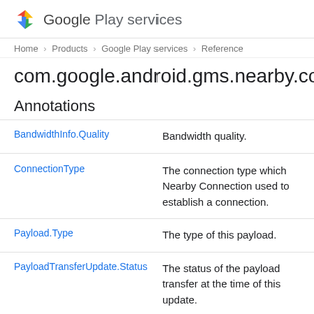Google Play services
Home > Products > Google Play services > Reference
com.google.android.gms.nearby.conne
Annotations
|  |  |
| --- | --- |
| BandwidthInfo.Quality | Bandwidth quality. |
| ConnectionType | The connection type which Nearby Connection used to establish a connection. |
| Payload.Type | The type of this payload. |
| PayloadTransferUpdate.Status | The status of the payload transfer at the time of this update. |